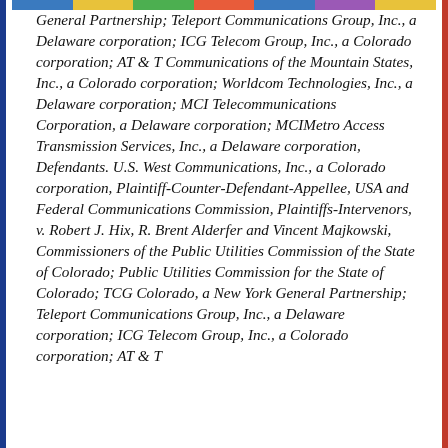General Partnership; Teleport Communications Group, Inc., a Delaware corporation; ICG Telecom Group, Inc., a Colorado corporation; AT & T Communications of the Mountain States, Inc., a Colorado corporation; Worldcom Technologies, Inc., a Delaware corporation; MCI Telecommunications Corporation, a Delaware corporation; MCIMetro Access Transmission Services, Inc., a Delaware corporation, Defendants. U.S. West Communications, Inc., a Colorado corporation, Plaintiff-Counter-Defendant-Appellee, USA and Federal Communications Commission, Plaintiffs-Intervenors, v. Robert J. Hix, R. Brent Alderfer and Vincent Majkowski, Commissioners of the Public Utilities Commission of the State of Colorado; Public Utilities Commission for the State of Colorado; TCG Colorado, a New York General Partnership; Teleport Communications Group, Inc., a Delaware corporation; ICG Telecom Group, Inc., a Colorado corporation; AT & T